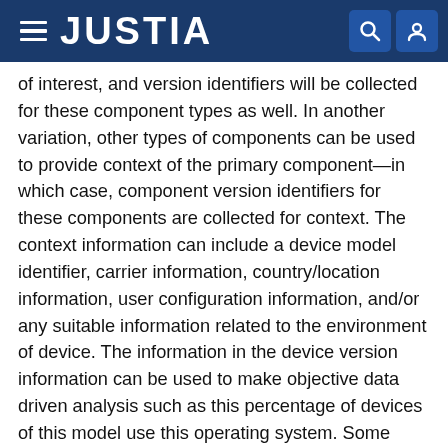JUSTIA
of interest, and version identifiers will be collected for these component types as well. In another variation, other types of components can be used to provide context of the primary component—in which case, component version identifiers for these components are collected for context. The context information can include a device model identifier, carrier information, country/location information, user configuration information, and/or any suitable information related to the environment of device. The information in the device version information can be used to make objective data driven analysis such as this percentage of devices of this model use this operating system. Some information may alternatively be used to drive subjective analysis such as users that commonly use their devices in secure manner use this operating system or users with behavior leading to device vulnerabilities use this set of